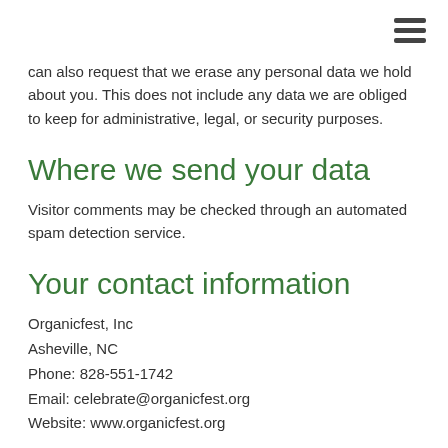≡ (hamburger menu icon)
can also request that we erase any personal data we hold about you. This does not include any data we are obliged to keep for administrative, legal, or security purposes.
Where we send your data
Visitor comments may be checked through an automated spam detection service.
Your contact information
Organicfest, Inc
Asheville, NC
Phone: 828-551-1742
Email: celebrate@organicfest.org
Website: www.organicfest.org
Additional information